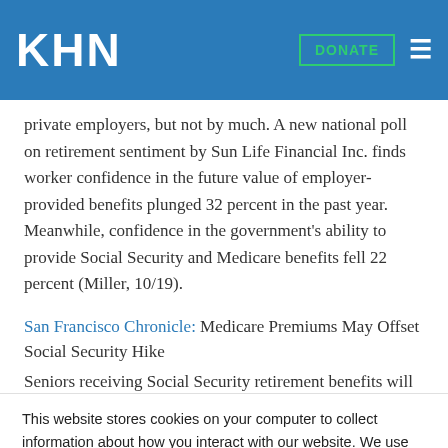KHN
private employers, but not by much. A new national poll on retirement sentiment by Sun Life Financial Inc. finds worker confidence in the future value of employer-provided benefits plunged 32 percent in the past year. Meanwhile, confidence in the government's ability to provide Social Security and Medicare benefits fell 22 percent (Miller, 10/19).
San Francisco Chronicle: Medicare Premiums May Offset Social Security Hike
Seniors receiving Social Security retirement benefits will get a 3.6 percent cost-of-living adjustment in 2012, their first increase since
This website stores cookies on your computer to collect information about how you interact with our website. We use this information in order to improve and customize your browsing experience and for analytics and metrics about our visitors both on this website and other media. To find out more about the cookies we use, see our Privacy Policy.